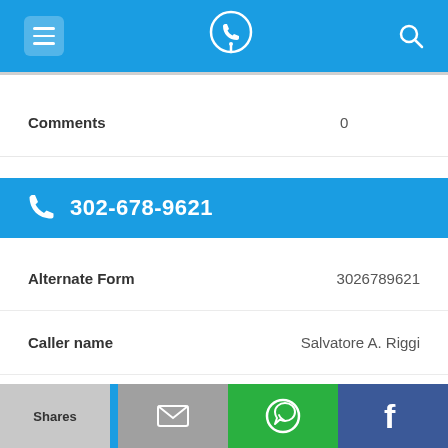[Figure (screenshot): Top navigation bar with hamburger menu icon, phone/location app icon in center circle, and search icon on right, all on blue background]
Comments  0
[Figure (infographic): Blue bar with phone icon and number 302-678-9621]
Alternate Form  3026789621
Caller name  Salvatore A. Riggi
Last User Search  No searches yet
Comments  0
[Figure (infographic): Bottom share bar with Shares label, email icon, WhatsApp icon, and Facebook icon]